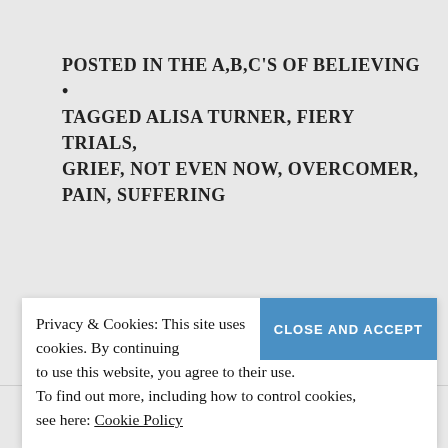POSTED IN THE A,B,C'S OF BELIEVING • TAGGED ALISA TURNER, FIERY TRIALS, GRIEF, NOT EVEN NOW, OVERCOMER, PAIN, SUFFERING
Privacy & Cookies: This site uses cookies. By continuing to use this website, you agree to their use. To find out more, including how to control cookies, see here: Cookie Policy
with an equally passionate belief that